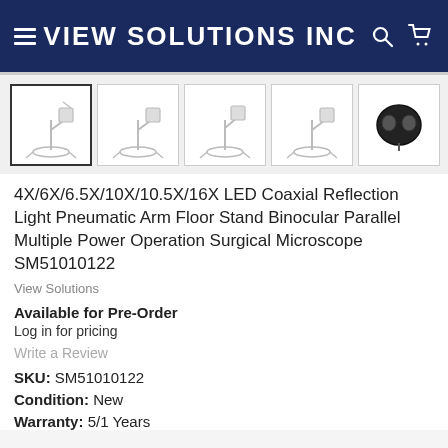VIEW SOLUTIONS INC
[Figure (photo): Five thumbnail images of a surgical microscope on a floor stand, shown from different angles. The last thumbnail shows a close-up of the microscope head.]
4X/6X/6.5X/10X/10.5X/16X LED Coaxial Reflection Light Pneumatic Arm Floor Stand Binocular Parallel Multiple Power Operation Surgical Microscope SM51010122
View Solutions
Available for Pre-Order
Log in for pricing
Write a Review
SKU: SM51010122
Condition: New
Warranty: 5/1 Years